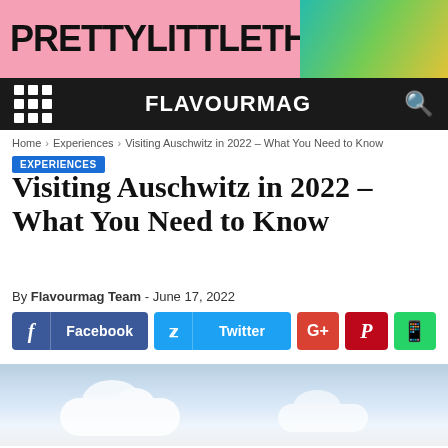[Figure (illustration): PrettyLittleThing advertisement banner with large black bold text on pink background and fashion models on right side with green/teal background]
FLAVOURMAG
Home › Experiences › Visiting Auschwitz in 2022 – What You Need to Know
EXPERIENCES
Visiting Auschwitz in 2022 – What You Need to Know
By Flavourmag Team - June 17, 2022
Facebook Twitter G+ Pinterest WhatsApp social share buttons
[Figure (photo): Sky with clouds, light blue sky with white clouds visible at bottom]